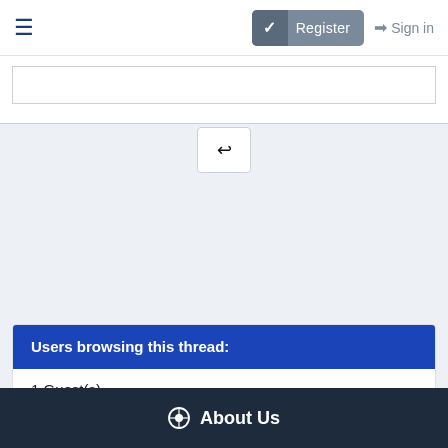Register | Sign in
[Figure (screenshot): Web forum page showing navigation bar with hamburger menu, Register button, and Sign in link; a text input area partially visible; a reply button; a 'Users browsing this thread:' section showing '1 Guest(s)'; and an 'About Us' footer section.]
Users browsing this thread:
1 Guest(s)
About Us